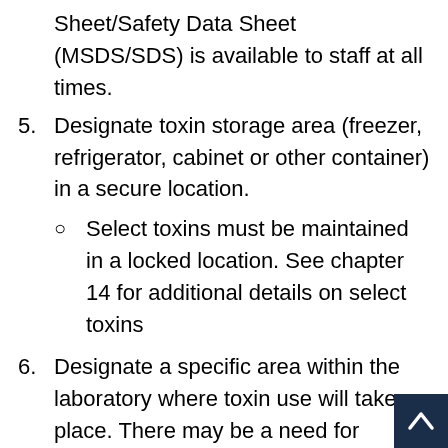Sheet/Safety Data Sheet (MSDS/SDS) is available to staff at all times.
5. Designate toxin storage area (freezer, refrigerator, cabinet or other container) in a secure location.
Select toxins must be maintained in a locked location. See chapter 14 for additional details on select toxins
6. Designate a specific area within the laboratory where toxin use will take place. There may be a need for ventilated containment depending on the likelihood of inhalation. If working